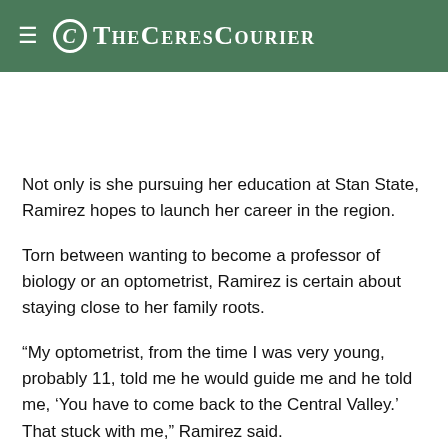The Ceres Courier
Not only is she pursuing her education at Stan State, Ramirez hopes to launch her career in the region.
Torn between wanting to become a professor of biology or an optometrist, Ramirez is certain about staying close to her family roots.
“My optometrist, from the time I was very young, probably 11, told me he would guide me and he told me, ‘You have to come back to the Central Valley.’ That stuck with me,” Ramirez said.
The Central Valley, where her father was born and raised and where she has some 40 cousins, is the only place she’s ever called